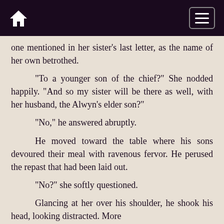[Navigation bar with home icon and menu icon]
one mentioned in her sister's last letter, as the name of her own betrothed.
“To a younger son of the chief?” She nodded happily. “And so my sister will be there as well, with her husband, the Alwyn’s elder son?”
“No,” he answered abruptly.
He moved toward the table where his sons devoured their meal with ravenous fervor. He perused the repast that had been laid out.
“No?” she softly questioned.
Glancing at her over his shoulder, he shook his head, looking distracted. More